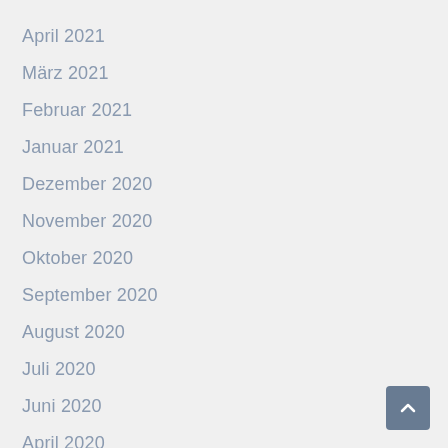April 2021
März 2021
Februar 2021
Januar 2021
Dezember 2020
November 2020
Oktober 2020
September 2020
August 2020
Juli 2020
Juni 2020
April 2020
März 2020
Februar 2020
Januar 2020